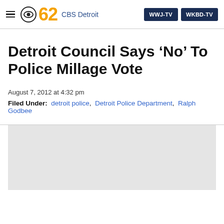CBS 62 CBS Detroit | WWJ-TV | WKBD-TV
Detroit Council Says ‘No’ To Police Millage Vote
August 7, 2012 at 4:32 pm
Filed Under: detroit police, Detroit Police Department, Ralph Godbee
[Figure (other): Gray image placeholder box]